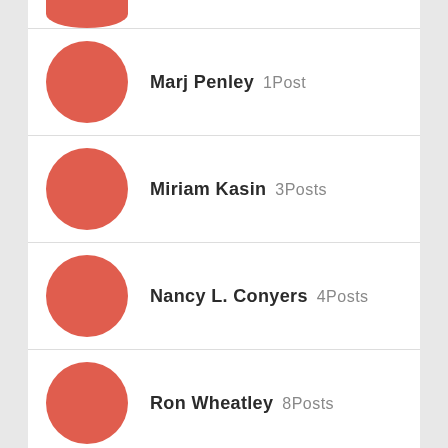Marj Penley 1Post
Miriam Kasin 3Posts
Nancy L. Conyers 4Posts
Ron Wheatley 8Posts
SiteSuper2 0Posts